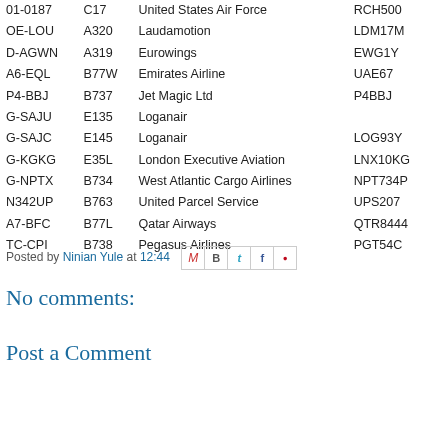| Registration | Type | Operator | Callsign |
| --- | --- | --- | --- |
| 01-0187 | C17 | United States Air Force | RCH500 |
| OE-LOU | A320 | Laudamotion | LDM17M |
| D-AGWN | A319 | Eurowings | EWG1Y |
| A6-EQL | B77W | Emirates Airline | UAE67 |
| P4-BBJ | B737 | Jet Magic Ltd | P4BBJ |
| G-SAJU | E135 | Loganair |  |
| G-SAJC | E145 | Loganair | LOG93Y |
| G-KGKG | E35L | London Executive Aviation | LNX10KG |
| G-NPTX | B734 | West Atlantic Cargo Airlines | NPT734P |
| N342UP | B763 | United Parcel Service | UPS207 |
| A7-BFC | B77L | Qatar Airways | QTR8444 |
| TC-CPI | B738 | Pegasus Airlines | PGT54C |
Posted by Ninian Yule at 12:44
No comments:
Post a Comment